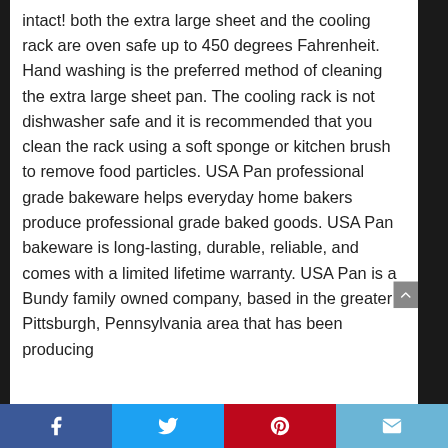intact! both the extra large sheet and the cooling rack are oven safe up to 450 degrees Fahrenheit. Hand washing is the preferred method of cleaning the extra large sheet pan. The cooling rack is not dishwasher safe and it is recommended that you clean the rack using a soft sponge or kitchen brush to remove food particles. USA Pan professional grade bakeware helps everyday home bakers produce professional grade baked goods. USA Pan bakeware is long-lasting, durable, reliable, and comes with a limited lifetime warranty. USA Pan is a Bundy family owned company, based in the greater Pittsburgh, Pennsylvania area that has been producing
Facebook | Twitter | Pinterest | Email